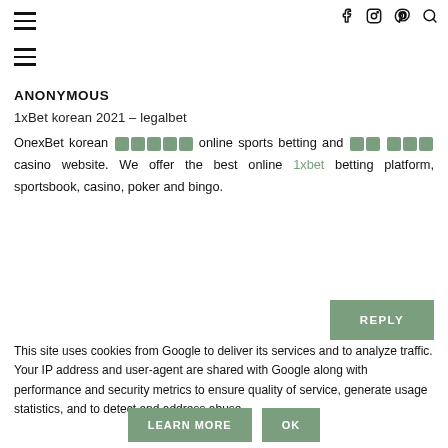Navigation bar with hamburger menu and social icons (Facebook, Instagram, Pinterest, Search)
ANONYMOUS
1xBet korean 2021 – legalbet
OnexBet korean 🀫🀫🀫🀫🀫 online sports betting and 🀫🀫🀫🀫🀫 casino website. We offer the best online 1xbet betting platform, sportsbook, casino, poker and bingo.
REPLY
This site uses cookies from Google to deliver its services and to analyze traffic. Your IP address and user-agent are shared with Google along with performance and security metrics to ensure quality of service, generate usage statistics, and to detect and address abuse.
LEARN MORE  OK